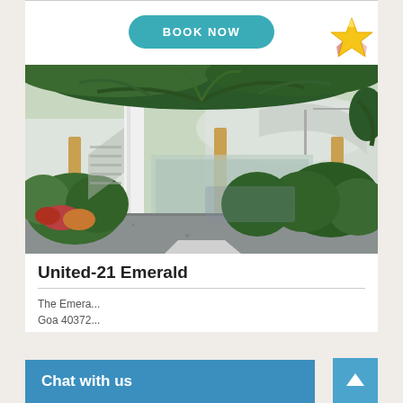[Figure (other): BOOK NOW button — teal rounded rectangle button with white bold uppercase text]
[Figure (photo): Exterior photo of United-21 Emerald hotel showing lush tropical greenery, tall palm trees, a white pillar, manicured shrubs, and a multi-storey building with curved balconies and a gravel driveway]
United-21 Emerald
The Emera... Goa 40372...
Chat with us